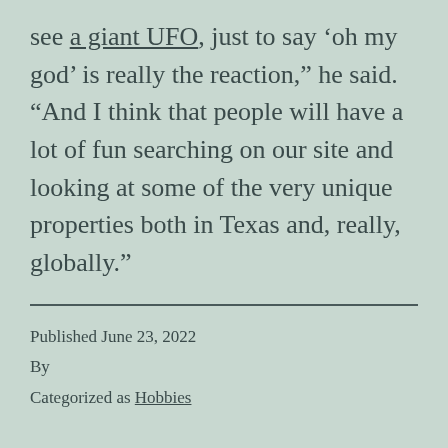see a giant UFO, just to say 'oh my god' is really the reaction," he said. “And I think that people will have a lot of fun searching on our site and looking at some of the very unique properties both in Texas and, really, globally.”
Published June 23, 2022
By
Categorized as Hobbies